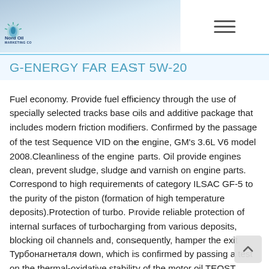[Figure (logo): Nord Oil Marketing logo with sun/rays icon in blue and green, company name 'Nord Oil' in bold blue, subtitle 'MARKETING CO' below]
G-ENERGY FAR EAST 5W-20
Fuel economy. Provide fuel efficiency through the use of specially selected tracks base oils and additive package that includes modern friction modifiers. Confirmed by the passage of the test Sequence VID on the engine, GM's 3.6L V6 model 2008.Cleanliness of the engine parts. Oil provide engines clean, prevent sludge, sludge and varnish on engine parts. Correspond to high requirements of category ILSAC GF-5 to the purity of the piston (formation of high temperature deposits).Protection of turbo. Provide reliable protection of internal surfaces of turbocharging from various deposits, blocking oil channels and, consequently, hamper the exit Турбонагнеталя down, which is confirmed by passing a test on the thermal-oxidative stability of the motor oil TEOST 33C.Compatibility with seal materials. Oil is compatible with the most common seal materials that is confirmed by passing the tests prescribed in ILSAC